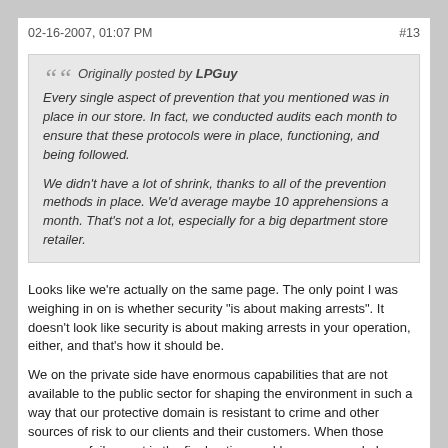02-16-2007, 01:07 PM   #13
Originally posted by LPGuy
Every single aspect of prevention that you mentioned was in place in our store. In fact, we conducted audits each month to ensure that these protocols were in place, functioning, and being followed.

We didn't have a lot of shrink, thanks to all of the prevention methods in place. We'd average maybe 10 apprehensions a month. That's not a lot, especially for a big department store retailer.
Looks like we're actually on the same page. The only point I was weighing in on is whether security "is about making arrests". It doesn't look like security is about making arrests in your operation, either, and that's how it should be.
We on the private side have enormous capabilities that are not available to the public sector for shaping the environment in such a way that our protective domain is resistant to crime and other sources of risk to our clients and their customers. When those measures fail, arrest is the final option, and by no means do I mean to imply that it is not an appropriate or a useful option.
"Every betrayal begins with trust." - Brian Jacques

"I can't predict the future, but I know that it'll be very weird." - Anonymous